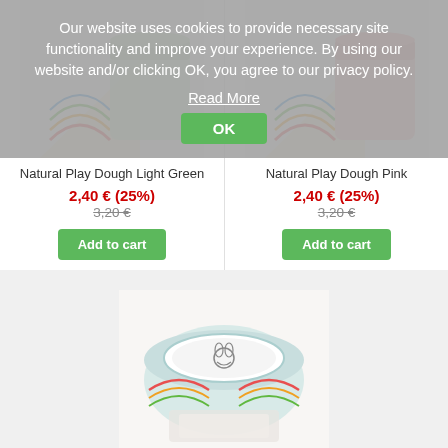Our website uses cookies to provide necessary site functionality and improve your experience. By using our website and/or clicking OK, you agree to our privacy policy.
Read More
OK
[Figure (photo): Natural Play Dough Light Green product — jar with colorful rainbow packaging]
Natural Play Dough Light Green
2,40 € (25%)
3,20 €
Add to cart
[Figure (photo): Natural Play Dough Pink product — jar with colorful rainbow packaging]
Natural Play Dough Pink
2,40 € (25%)
3,20 €
Add to cart
[Figure (photo): Natural Play Dough product — round box with mouse/rabbit illustration and rainbow pattern]